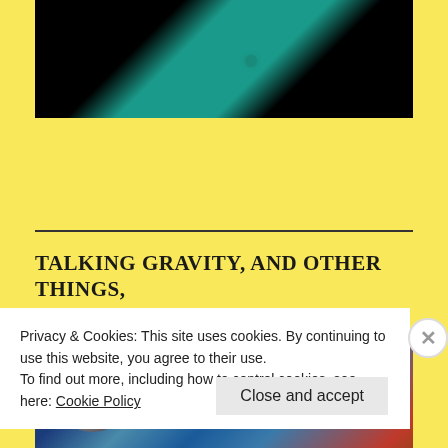[Figure (photo): Top partial image with dark and teal/green abstract artistic elements, appears to be a cropped photo with black and teal contrast]
TALKING GRAVITY, AND OTHER THINGS, WITH DAYDREAM RUNAWAYS
[Figure (photo): Blue cosmic/space themed image with moon on left and Daydream Runaways logo text on right, showing nebula and starfield]
Privacy & Cookies: This site uses cookies. By continuing to use this website, you agree to their use.
To find out more, including how to control cookies, see here: Cookie Policy
Close and accept